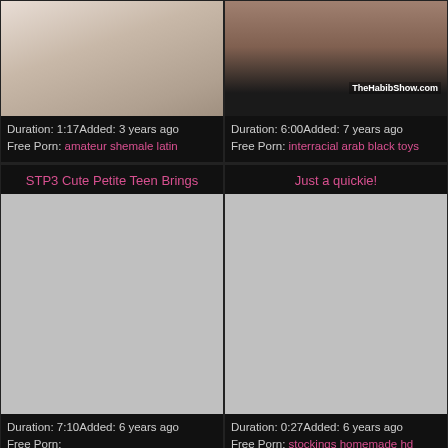[Figure (photo): Video thumbnail top left - blurred/skin tones]
[Figure (photo): Video thumbnail top right - dark tones with TheHabibShow.com watermark]
Duration: 1:17Added: 3 years ago
Free Porn: amateur shemale latin
Duration: 6:00Added: 7 years ago
Free Porn: interracial arab black toys
STP3 Cute Petite Teen Brings
Just a quickie!
[Figure (photo): Gray placeholder thumbnail for STP3 video]
[Figure (photo): Gray placeholder thumbnail for Just a quickie video]
Duration: 7:10Added: 6 years ago
Free Porn:
Duration: 0:27Added: 6 years ago
Free Porn: stockings homemade hd
Hot blonde quickie
Just a Doggystyle Quickie